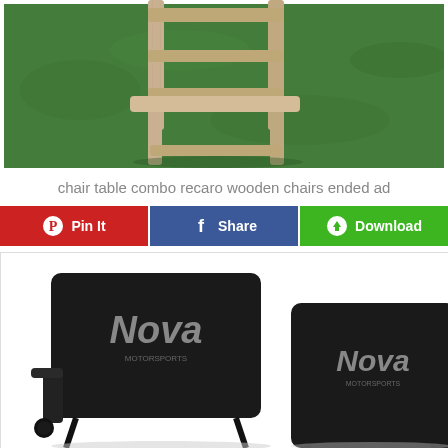[Figure (photo): A wooden bar stool or chair with slatted back and crossbar legs photographed on green grass background]
chair table combo recaro wooden chairs ended ad
[Figure (infographic): Three action buttons: Pin It (red, Pinterest icon), Share (blue, Facebook icon), Download (green, download icon)]
[Figure (photo): Two black folding chairs with Nova branding/logo on the backrest, photographed on white background]